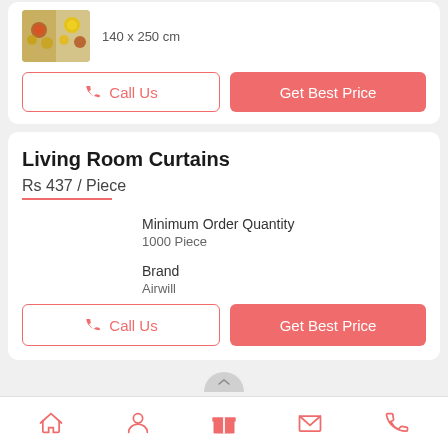[Figure (photo): Product thumbnail of floral curtain with yellow and red flowers, showing 140 x 250 cm dimension text]
140 x 250 cm
Call Us
Get Best Price
Living Room Curtains
Rs 437 / Piece
Minimum Order Quantity
1000 Piece
Brand
Airwill
Call Us
Get Best Price
[Figure (infographic): Bottom navigation bar with 5 icons: home, person, gift/product, envelope, phone]